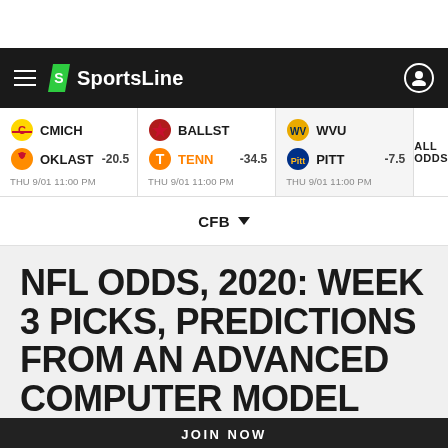SportsLine
| Team1 | Team2 | Spread | Time |
| --- | --- | --- | --- |
| CMICH | OKLAST | -20.5 | THU 9/01 11:00 PM |
| BALLST | TENN | -34.5 | THU 9/01 11:00 PM |
| WVU | PITT | -7.5 | THU 9/01 11:00 PM |
CFB
NFL ODDS, 2020: WEEK 3 PICKS, PREDICTIONS FROM AN ADVANCED COMPUTER MODEL